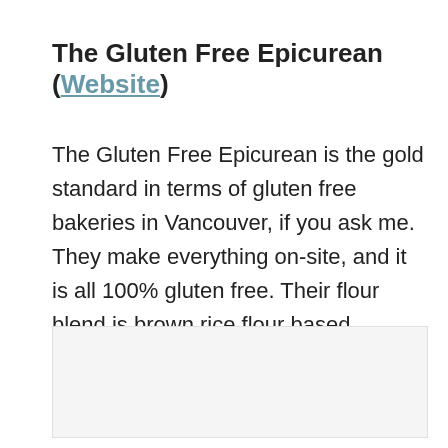The Gluten Free Epicurean (Website)
The Gluten Free Epicurean is the gold standard in terms of gluten free bakeries in Vancouver, if you ask me. They make everything on-site, and it is all 100% gluten free. Their flour blend is brown rice flour based.
[Figure (photo): Placeholder image area, light gray background]